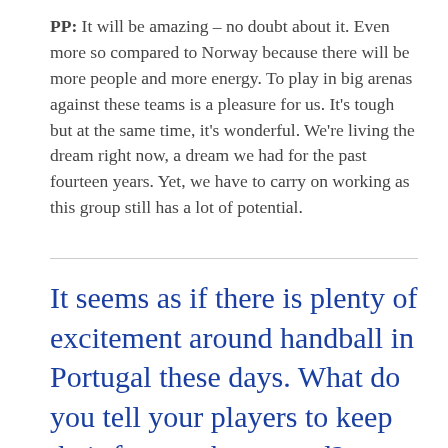PP:  It will be amazing – no doubt about it.  Even more so compared to Norway because there will be more people and more energy. To play in big arenas against these teams is a pleasure for us. It's tough but at the same time, it's wonderful. We're living the dream right now, a dream we had for the past fourteen years.  Yet, we have to carry on working as this group still has a lot of potential.
It seems as if there is plenty of excitement around handball in Portugal these days. What do you tell your players to keep their feet on the ground?